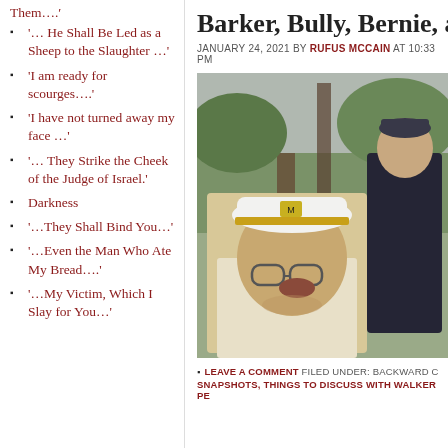Them….′
'… He Shall Be Led as a Sheep to the Slaughter …'
'I am ready for scourges….'
'I have not turned away my face …'
'… They Strike the Cheek of the Judge of Israel.'
Darkness
'…They Shall Bind You…'
'…Even the Man Who Ate My Bread….'
'…My Victim, Which I Slay for You…'
Barker, Bully, Bernie, and J…
JANUARY 24, 2021 BY RUFUS MCCAIN AT 10:33 PM
[Figure (photo): Two men outdoors near a wooden structure. One man in the foreground wears a white captain's hat with a yellow brim and glasses. The other man stands in the background wearing a dark jacket.]
LEAVE A COMMENT FILED UNDER: BACKWARD C…
SNAPSHOTS, THINGS TO DISCUSS WITH WALKER PE…